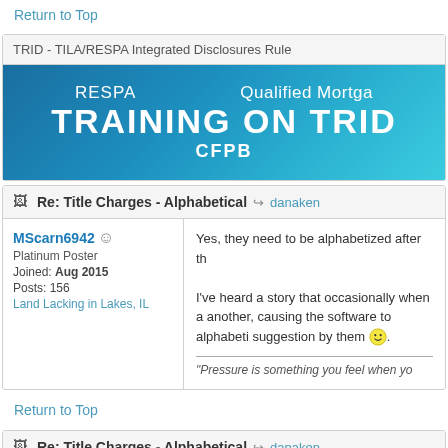Return to Top
TRID - TILA/RESPA Integrated Disclosures Rule
[Figure (infographic): Banner advertisement for CFPB training. Blue gradient background with text: RESPA, Qualified Mortgage, TRAINING ON TRID, CFPB]
Re: Title Charges - Alphabetical danaken
MScarn6942
Platinum Poster
Joined: Aug 2015
Posts: 756
Land Lacking in Lakes, IL
Yes, they need to be alphabetized after th...

I've heard a story that occasionally when a... another, causing the software to alphabeti... suggestion by them.

"Pressure is something you feel when yo...
Return to Top
Re: Title Charges - Alphabetical danaken